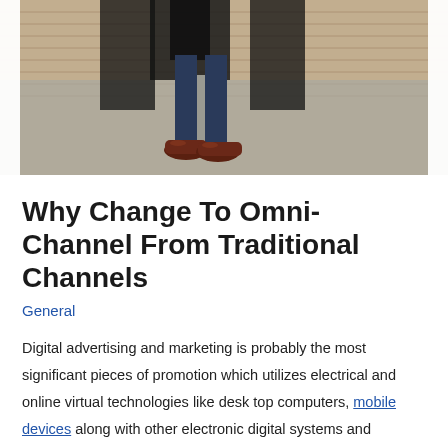[Figure (photo): Lower half of a man wearing dark blue trousers, a dark coat, and brown leather Oxford shoes, standing on a concrete/paved surface in front of a brick wall.]
Why Change To Omni-Channel From Traditional Channels
General
Digital advertising and marketing is probably the most significant pieces of promotion which utilizes electrical and online virtual technologies like desk top computers, mobile devices along with other electronic digital systems and systems for advertising